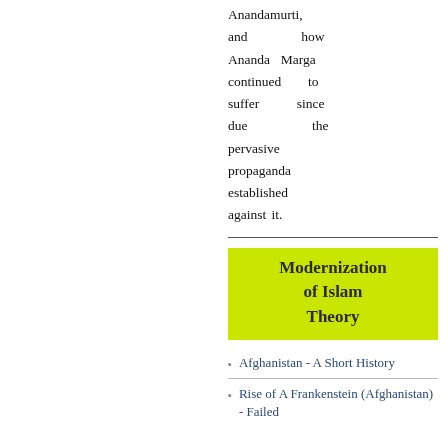Anandamurti, and how Ananda Marga continued to suffer since due the pervasive propaganda established against it.
Modernization of Islam Theory
Afghanistan - A Short History
Rise of A Frankenstein (Afghanistan) - Failed